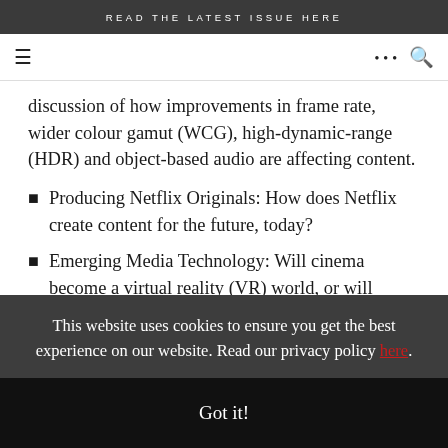READ THE LATEST ISSUE HERE
discussion of how improvements in frame rate, wider colour gamut (WCG), high-dynamic-range (HDR) and object-based audio are affecting content.
Producing Netflix Originals: How does Netflix create content for the future, today?
Emerging Media Technology: Will cinema become a virtual reality (VR) world, or will augmented reality (AR) find it's way into cinema? Will on-demand usher in an era of
This website uses cookies to ensure you get the best experience on our website. Read our privacy policy here.
Got it!